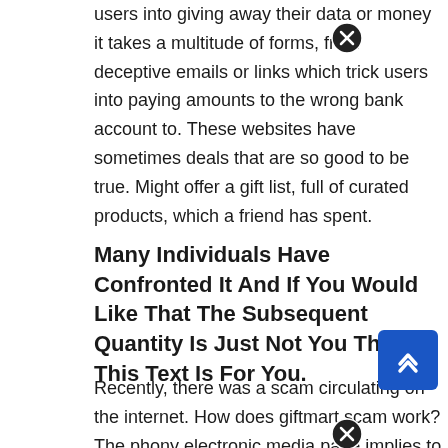users into giving away their data or money it takes a multitude of forms, from deceptive emails or links which trick users into paying amounts to the wrong bank account to. These websites have sometimes deals that are so good to be true. Might offer a gift list, full of curated products, which a friend has spent.
Many Individuals Have Confronted It And If You Would Like That The Subsequent Quantity Is Just Not You Then This Text Is For You.
Recently, there was a scam circulating on the internet. How does giftmart scam work? The phony electronic media page implies to give open...